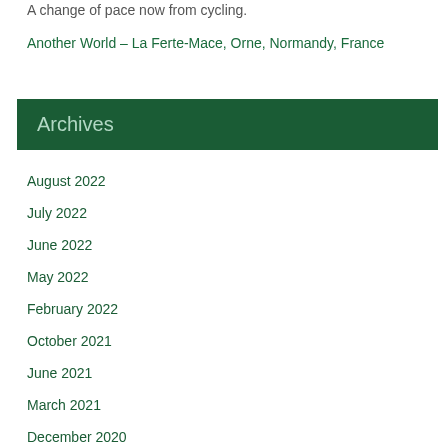A change of pace now from cycling.
Another World – La Ferte-Mace, Orne, Normandy, France
Archives
August 2022
July 2022
June 2022
May 2022
February 2022
October 2021
June 2021
March 2021
December 2020
October 2020